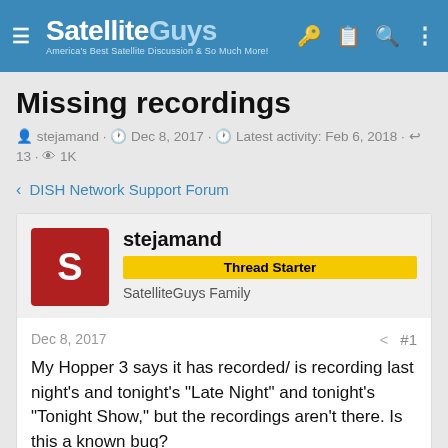SatelliteGuys — America's Best Satellite Discussion & So Much More!
Missing recordings
stejamand · Dec 8, 2017 · Latest activity: Feb 6, 2018 · 13 · 1K
< DISH Network Support Forum
stejamand
Thread Starter
SatelliteGuys Family
Dec 8, 2017  #1
My Hopper 3 says it has recorded/ is recording last night's and tonight's "Late Night" and tonight's "Tonight Show," but the recordings aren't there. Is this a known bug?